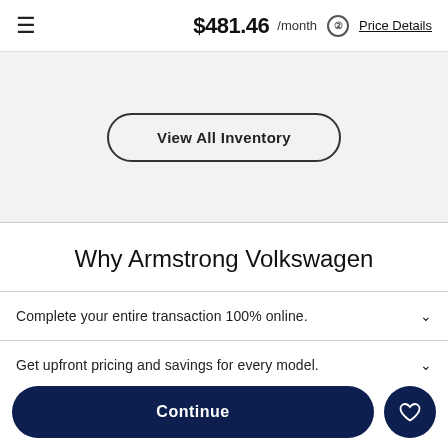$481.46 /month  Price Details
View All Inventory
Why Armstrong Volkswagen
Complete your entire transaction 100% online.
Get upfront pricing and savings for every model.
Continue